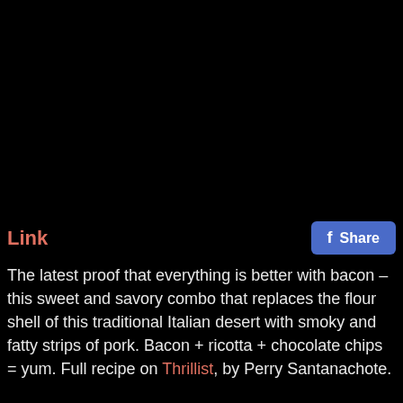[Figure (photo): Black image area at top of page]
Link
Share
The latest proof that everything is better with bacon – this sweet and savory combo that replaces the flour shell of this traditional Italian desert with smoky and fatty strips of pork. Bacon + ricotta + chocolate chips = yum. Full recipe on Thrillist, by Perry Santanachote.